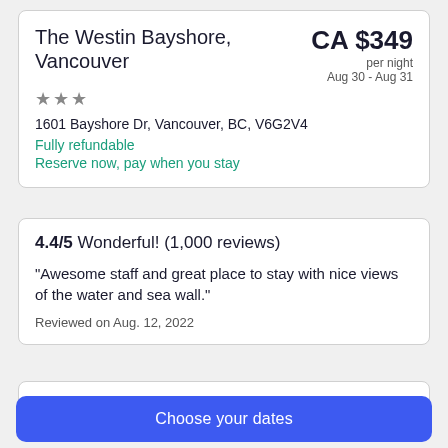The Westin Bayshore, Vancouver  CA $349
★★★
1601 Bayshore Dr, Vancouver, BC, V6G2V4  per night  Aug 30 - Aug 31
Fully refundable
Reserve now, pay when you stay
4.4/5 Wonderful! (1,000 reviews)
"Awesome staff and great place to stay with nice views of the water and sea wall."
Reviewed on Aug. 12, 2022
Pan Pacific Vancouver
Choose your dates